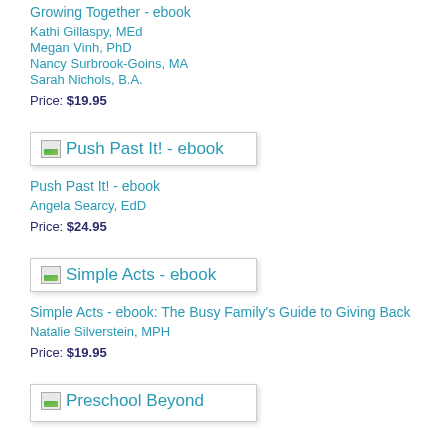Growing Together - ebook
Kathi Gillaspy, MEd
Megan Vinh, PhD
Nancy Surbrook-Goins, MA
Sarah Nichols, B.A.
Price: $19.95
[Figure (illustration): Book cover thumbnail for Push Past It! - ebook]
Push Past It! - ebook
Angela Searcy, EdD
Price: $24.95
[Figure (illustration): Book cover thumbnail for Simple Acts - ebook]
Simple Acts - ebook: The Busy Family's Guide to Giving Back
Natalie Silverstein, MPH
Price: $19.95
[Figure (illustration): Book cover thumbnail for Preschool Beyond - ebook (partial)]